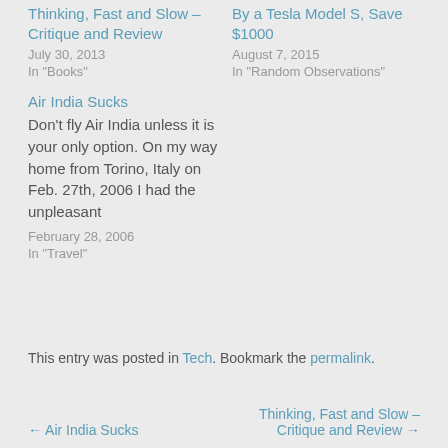Thinking, Fast and Slow – Critique and Review
July 30, 2013
In "Books"
By a Tesla Model S, Save $1000
August 7, 2015
In "Random Observations"
Air India Sucks
Don't fly Air India unless it is your only option. On my way home from Torino, Italy on Feb. 27th, 2006 I had the unpleasant
February 28, 2006
In "Travel"
This entry was posted in Tech. Bookmark the permalink.
← Air India Sucks
Thinking, Fast and Slow – Critique and Review →